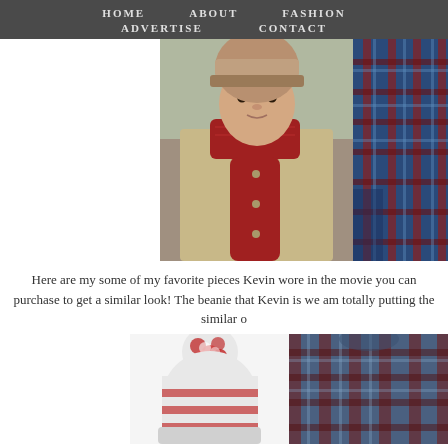HOME   ABOUT   FASHION   ADVERTISE   CONTACT
[Figure (photo): Child wearing a beanie hat and red knit scarf with a tan puffer jacket, outdoors in winter setting]
[Figure (photo): Person wearing a blue and red plaid flannel shirt, partial view]
Here are my some of my favorite pieces Kevin wore in the movie you can purchase to get a similar look! The beanie that Kevin is we am totally putting the similar o
[Figure (photo): Red and white pom-pom beanie hat]
[Figure (photo): Person wearing a plaid flannel shirt, partial view]